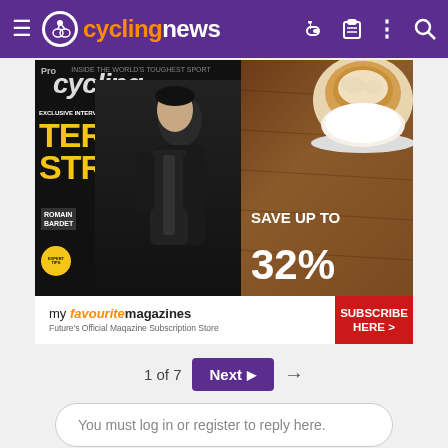cyclingnews
[Figure (screenshot): Advertisement for ProCycling magazine subscription via myfavouritemagazines. Shows a magazine cover featuring a cyclist with 'TERRA…STRA' in yellow text, a coffee cup on wooden background, and 'SAVE UP TO 32%' text. Bottom bar reads 'my favourite magazines – Future's Official Maqazine Subscription Store' with a red 'SUBSCRIBE HERE >' button.]
1 of 7
Next ▸
You must log in or register to reply here.